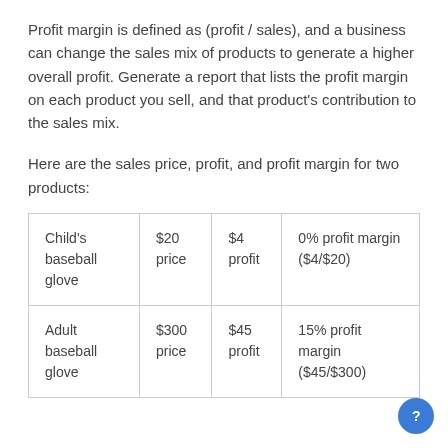Profit margin is defined as (profit / sales), and a business can change the sales mix of products to generate a higher overall profit. Generate a report that lists the profit margin on each product you sell, and that product's contribution to the sales mix.
Here are the sales price, profit, and profit margin for two products:
| Child's baseball glove | $20 price | $4 profit | 0% profit margin ($4/$20) |
| Adult baseball glove | $300 price | $45 profit | 15% profit margin ($45/$300) |